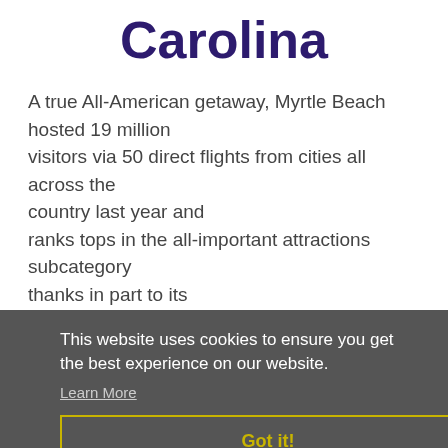Carolina
A true All-American getaway, Myrtle Beach hosted 19 million visitors via 50 direct flights from cities all across the country last year and ranks tops in the all-important attractions subcategory thanks in part to its more than one-mile long Oceanfront Boardwalk and Promenade
This website uses cookies to ensure you get the best experience on our website.
Learn More
Got it!
7.Ann Arbor, Michigan